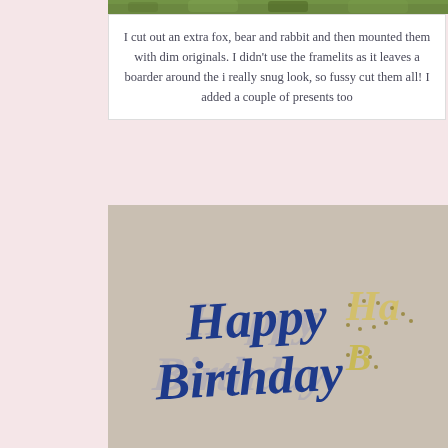[Figure (photo): Green foliage photo strip at the top of the page]
I cut out an extra fox, bear and rabbit and then mounted them with dim originals. I didn't use the framelits as it leaves a boarder around the i really snug look, so fussy cut them all! I added a couple of presents too
[Figure (photo): Craft project photo showing Happy Birthday die cut letters in blue script and a metallic/gold version, on a beige background]